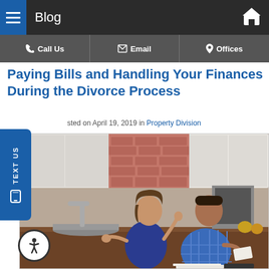Blog
Call Us | Email | Offices
Paying Bills and Handling Your Finances During the Divorce Process
Posted on April 19, 2019 in Property Division
[Figure (photo): A couple in a kitchen, woman standing with hands gesturing expressively while man sits at counter looking down at papers and a calculator, appearing stressed about finances]